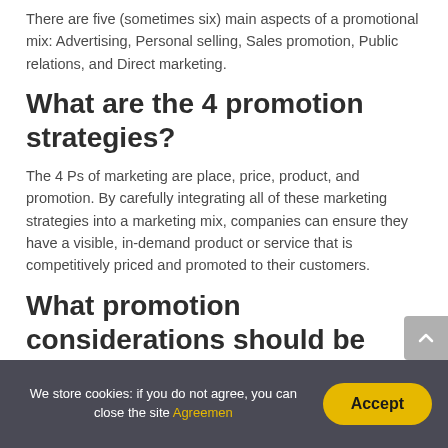There are five (sometimes six) main aspects of a promotional mix: Advertising, Personal selling, Sales promotion, Public relations, and Direct marketing.
What are the 4 promotion strategies?
The 4 Ps of marketing are place, price, product, and promotion. By carefully integrating all of these marketing strategies into a marketing mix, companies can ensure they have a visible, in-demand product or service that is competitively priced and promoted to their customers.
What promotion considerations should be included in a marketing
We store cookies: if you do not agree, you can close the site Agreemen